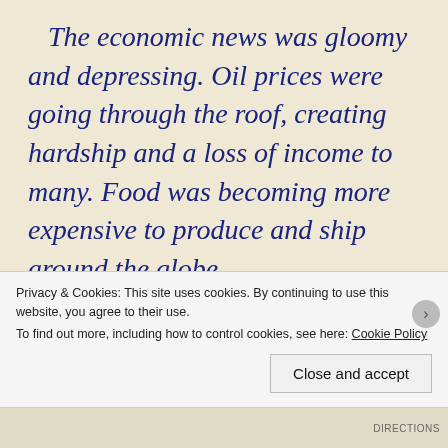The economic news was gloomy and depressing. Oil prices were going through the roof, creating hardship and a loss of income to many. Food was becoming more expensive to produce and ship around the globe.

Hank Gerome was a gambler, he gambled on the stock market, frequently
Privacy & Cookies: This site uses cookies. By continuing to use this website, you agree to their use.
To find out more, including how to control cookies, see here: Cookie Policy
Close and accept